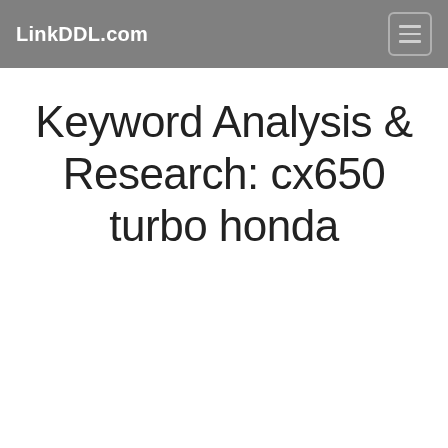LinkDDL.com
Keyword Analysis & Research: cx650 turbo honda